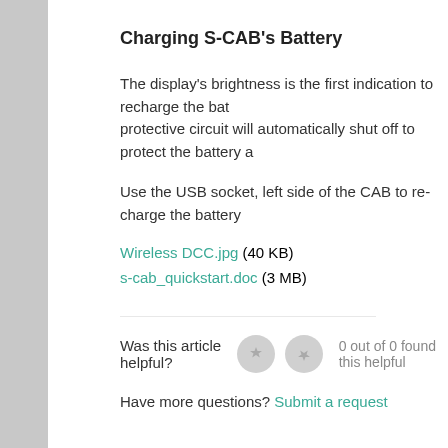Charging S-CAB's Battery
The display's brightness is the first indication to recharge the battery. A protective circuit will automatically shut off to protect the battery a
Use the USB socket, left side of the CAB to re-charge the battery
Wireless DCC.jpg (40 KB)
s-cab_quickstart.doc (3 MB)
Was this article helpful? 0 out of 0 found this helpful
Have more questions? Submit a request